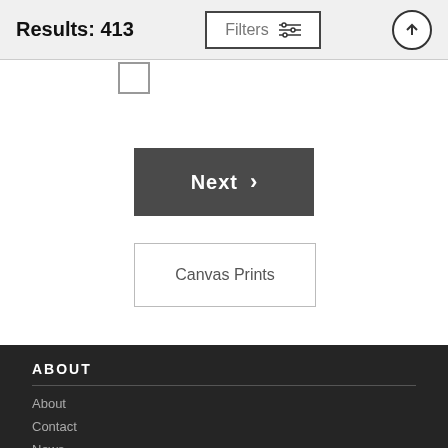Results: 413
Filters
Next >
Canvas Prints
ABOUT
About
Contact
News
Blog